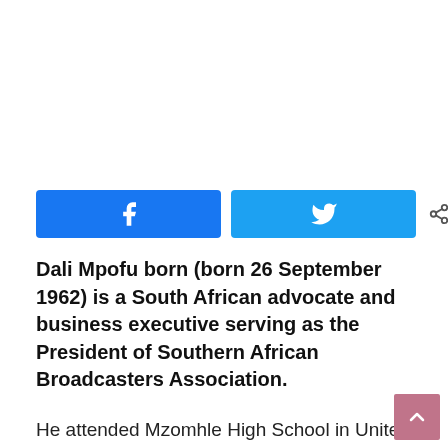[Figure (other): Social sharing buttons: Facebook (blue), Twitter (light blue), and a share count showing 0 SHARES]
Dali Mpofu born (born 26 September 1962) is a South African advocate and business executive serving as the President of Southern African Broadcasters Association.
He attended Mzomhle High School in Unite 1 of Mdantsane township in the Eastern Cape. Mpofu completed his Bachelor of Procurement studies from